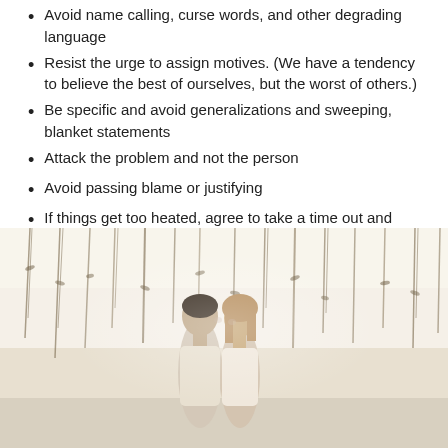Avoid name calling, curse words, and other degrading language
Resist the urge to assign motives. (We have a tendency to believe the best of ourselves, but the worst of others.)
Be specific and avoid generalizations and sweeping, blanket statements
Attack the problem and not the person
Avoid passing blame or justifying
If things get too heated, agree to take a time out and revisit later
[Figure (photo): A couple facing each other with foreheads nearly touching, standing in front of a backdrop of hanging vines or dried plants, in a romantic, soft-light outdoor setting.]